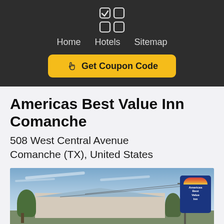Home  Hotels  Sitemap
Get Coupon Code
Americas Best Value Inn Comanche
508 West Central Avenue Comanche (TX), United States
[Figure (photo): Exterior photo of Americas Best Value Inn Comanche showing motel building with a diamond-patterned canopy roof, surrounding trees, utility poles with power lines, and the Americas Best Value Inn sign board on the right side against a partly cloudy blue sky.]